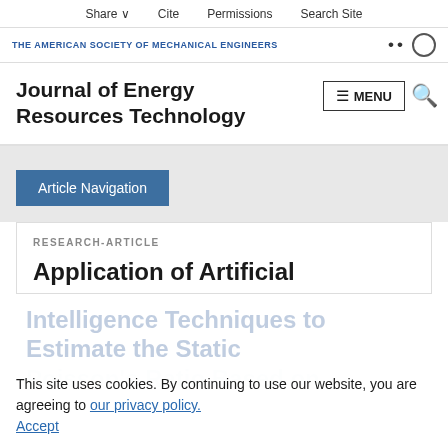Share  Cite  Permissions  Search Site
THE AMERICAN SOCIETY OF MECHANICAL ENGINEERS
Journal of Energy Resources Technology
Article Navigation
RESEARCH-ARTICLE
Application of Artificial Intelligence Techniques to Estimate the Static Poisson's Ratio Based on
This site uses cookies. By continuing to use our website, you are agreeing to our privacy policy. Accept